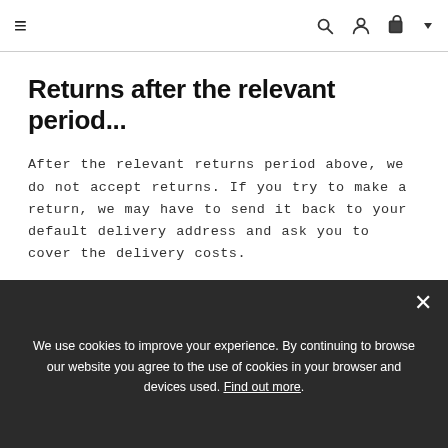Navigation bar with hamburger menu, search, account, and cart icons
Returns after the relevant period...
After the relevant returns period above, we do not accept returns. If you try to make a return, we may have to send it back to your default delivery address and ask you to cover the delivery costs.
Original condition
We use cookies to improve your experience. By continuing to browse our website you agree to the use of cookies in your browser and devices used. Find out more.